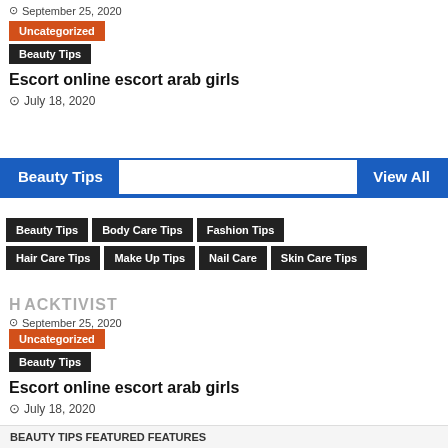September 25, 2020
Uncategorized
Beauty Tips
Escort online escort arab girls
July 18, 2020
Beauty Tips
View All
Beauty Tips
Body Care Tips
Fashion Tips
Hair Care Tips
Make Up Tips
Nail Care
Skin Care Tips
Escort online escort arab girls
September 25, 2020
Uncategorized
Beauty Tips
Escort online escort arab girls
July 18, 2020